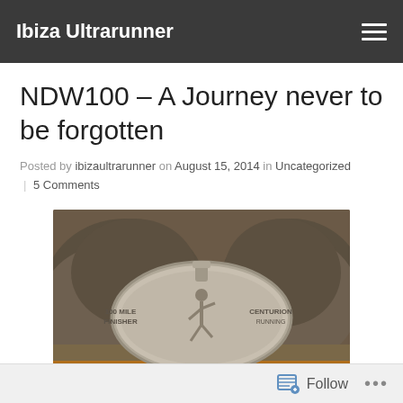Ibiza Ultrarunner
NDW100 – A Journey never to be forgotten
Posted by ibizaultrarunner on August 15, 2014 in Uncategorized | 5 Comments
[Figure (photo): A silver oval medal engraved with a running figure, text reading '100 MILE FINISHER' on the left and 'CENTURION RUNNING' on the right, placed in front of muddy trail running shoes.]
Follow ...